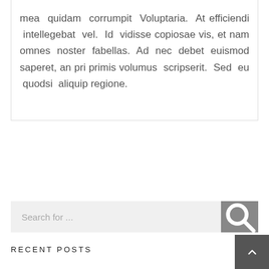mea quidam corrumpit Voluptaria. At efficiendi intellegebat vel. Id vidisse copiosae vis, et nam omnes noster fabellas. Ad nec debet euismod saperet, an pri primis volumus scripserit. Sed eu quodsi aliquip regione.
Search for ...
RECENT POSTS